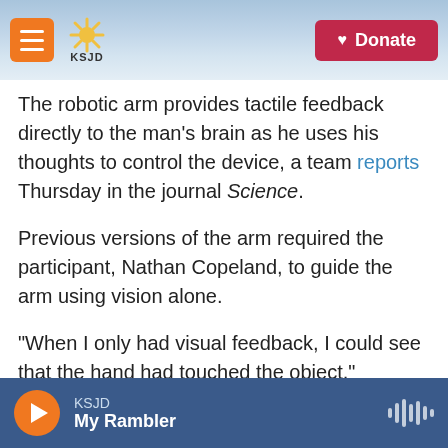KSJD | Donate
The robotic arm provides tactile feedback directly to the man's brain as he uses his thoughts to control the device, a team reports Thursday in the journal Science.
Previous versions of the arm required the participant, Nathan Copeland, to guide the arm using vision alone.
"When I only had visual feedback, I could see that the hand had touched the object," Copeland says. "But sometimes I would go to pick it up and it would fall out."
KSJD | My Rambler